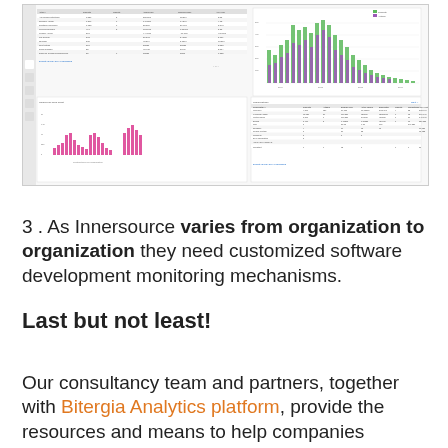[Figure (screenshot): Screenshot of a software analytics dashboard showing tables with repository/contributor data and bar charts with green and purple bars showing activity metrics, plus a smaller bar chart below with pink/magenta bars.]
3 . As Innersource varies from organization to organization they need customized software development monitoring mechanisms.
Last but not least!
Our consultancy team and partners, together with Bitergia Analytics platform, provide the resources and means to help companies